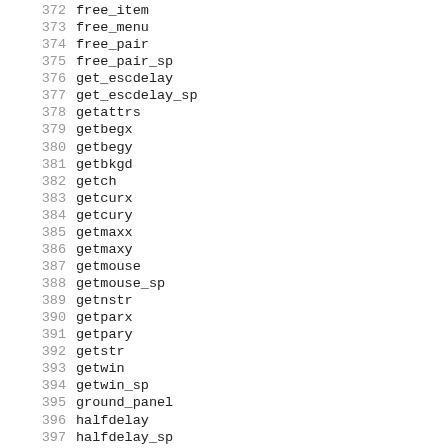372 free_item
373 free_menu
374 free_pair
375 free_pair_sp
376 get_escdelay
377 get_escdelay_sp
378 getattrs
379 getbegx
380 getbegy
381 getbkgd
382 getch
383 getcurx
384 getcury
385 getmaxx
386 getmaxy
387 getmouse
388 getmouse_sp
389 getnstr
390 getparx
391 getpary
392 getstr
393 getwin
394 getwin_sp
395 ground_panel
396 halfdelay
397 halfdelay_sp
398 has_colors
399 has_colors_sp
400 has_ic
401 has_ic_sp
402 has_il
403 has_il_sp